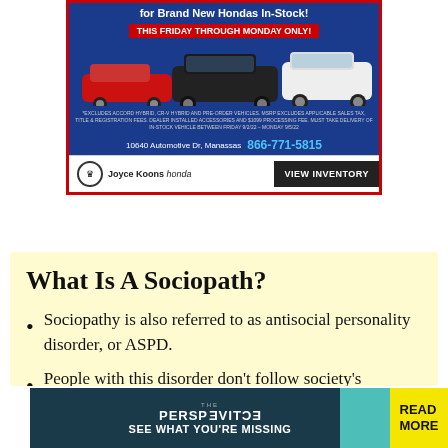[Figure (advertisement): Honda dealership advertisement banner showing three cars (red, black, white SUV), text 'for Brand New Hondas In-Stock! THIS FRIDAY THROUGH MONDAY ONLY!', address 10640 Automotive Dr, Manassas, phone 866-771-5815, Joyce Koons Honda logo, VIEW INVENTORY button]
What Is A Sociopath?
Sociopathy is also referred to as antisocial personality disorder, or ASPD.
People with this disorder don't follow society's
[Figure (advertisement): The Perspective magazine advertisement: 'THE PERSPECTIVE — SEE WHAT YOU'RE MISSING' with teal background and yellow 'READ MORE' button]